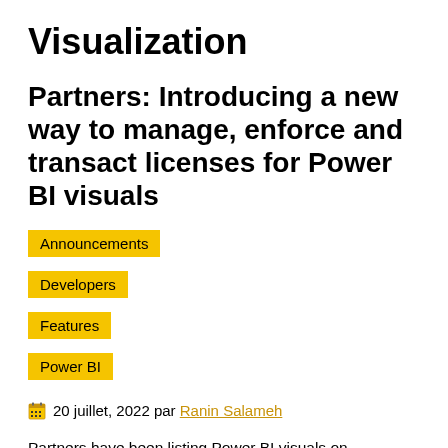Visualization
Partners: Introducing a new way to manage, enforce and transact licenses for Power BI visuals
Announcements
Developers
Features
Power BI
20 juillet, 2022 par Ranin Salameh
Partners have been listing Power BI visuals on AppSource